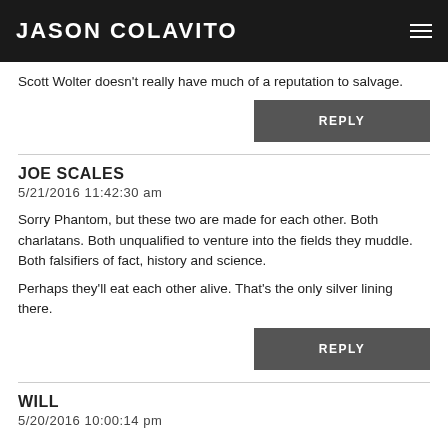JASON COLAVITO
Scott Wolter doesn't really have much of a reputation to salvage.
REPLY
JOE SCALES
5/21/2016 11:42:30 am
Sorry Phantom, but these two are made for each other. Both charlatans. Both unqualified to venture into the fields they muddle. Both falsifiers of fact, history and science.
Perhaps they'll eat each other alive. That's the only silver lining there.
REPLY
WILL
5/20/2016 10:00:14 pm